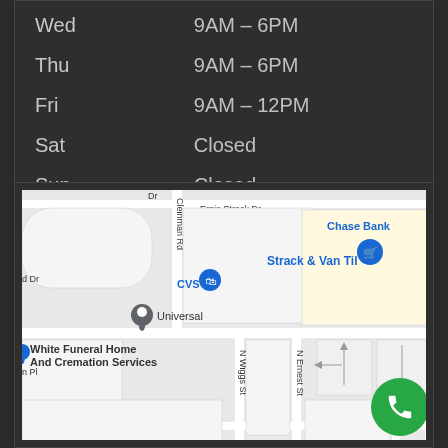| Day | Hours |
| --- | --- |
| Wed | 9AM – 6PM |
| Thu | 9AM – 6PM |
| Fri | 9AM – 12PM |
| Sat | Closed |
| Sun | Closed |
[Figure (map): Google Maps showing White Funeral Home And Cremation Services near W 45th St, with nearby landmarks CVS, Strack & Van Til, Chase Bank, Universal. Streets shown include Cleinman Rd, Ernie Strack Dr, N Wiggs St, N Ernest St, W 45th St.]